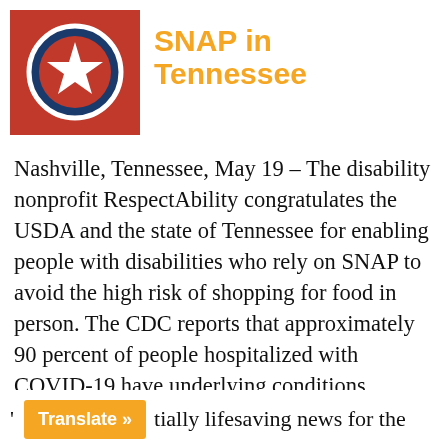[Figure (logo): Tennessee state flag logo — red background with circular blue and white state seal containing a star, in a square red frame]
SNAP in Tennessee
Nashville, Tennessee, May 19 – The disability nonprofit RespectAbility congratulates the USDA and the state of Tennessee for enabling people with disabilities who rely on SNAP to avoid the high risk of shopping for food in person. The CDC reports that approximately 90 percent of people hospitalized with COVID-19 have underlying conditions. People with disabilities and other historically marginalized communities are the groups most likely to have these conditions, and are among the most at risk for severe complications from the coronavirus.
' [Translate »] tially lifesaving news for the [partial line]